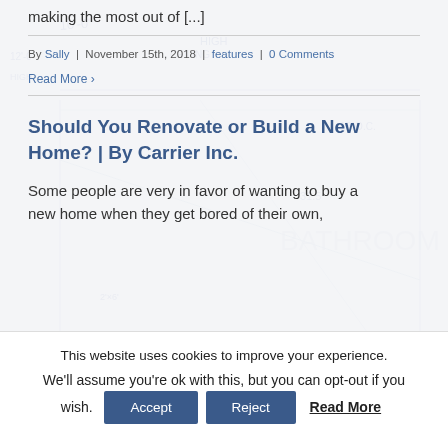making the most out of [...]
By Sally | November 15th, 2018 | features | 0 Comments
Read More >
Should You Renovate or Build a New Home? | By Carrier Inc.
Some people are very in favor of wanting to buy a new home when they get bored of their own,
This website uses cookies to improve your experience. We'll assume you're ok with this, but you can opt-out if you wish.
Accept
Reject
Read More